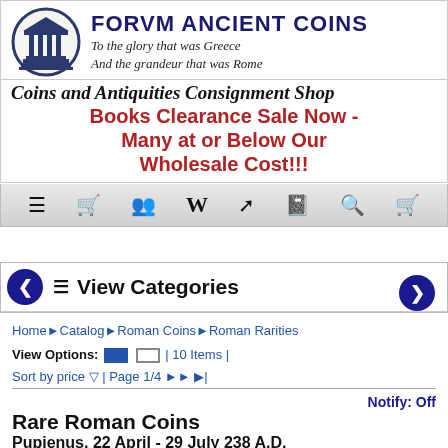[Figure (logo): Forum Ancient Coins logo: circular emblem with classical Greek/Roman temple columns illustration in dark blue ink]
FORVM ANCIENT COINS
To the glory that was Greece
And the grandeur that was Rome
Coins and Antiquities Consignment Shop
Books Clearance Sale Now - Many at or Below Our Wholesale Cost!!!
View Categories
Home ▶ Catalog ▶ Roman Coins ▶ Roman Rarities
View Options: [grid] [list] | 10 Items | Sort by price ▽ | Page 1/4 ▶▶ ▶|
Notify: Off
Rare Roman Coins
Pupienus, 22 April - 29 July 238 A.D.